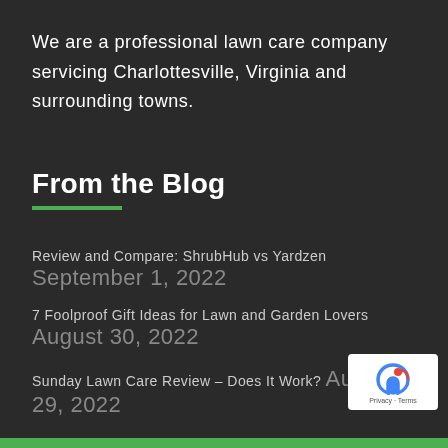We are a professional lawn care company servicing Charlottesville, Virginia and surrounding towns.
From the Blog
Review and Compare: ShrubHub vs Yardzen
September 1, 2022
7 Foolproof Gift Ideas for Lawn and Garden Lovers
August 30, 2022
Sunday Lawn Care Review – Does It Work?
August 29, 2022
[Figure (logo): reCAPTCHA badge with blue and red logo icon and 'Privacy · Terms' text]